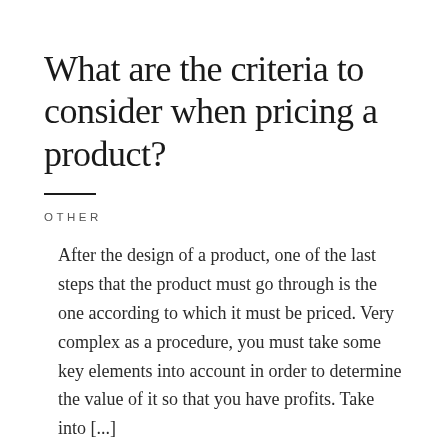What are the criteria to consider when pricing a product?
OTHER
After the design of a product, one of the last steps that the product must go through is the one according to which it must be priced. Very complex as a procedure, you must take some key elements into account in order to determine the value of it so that you have profits. Take into [...]